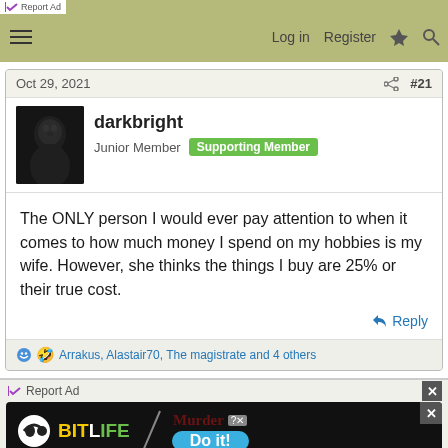Report Ad | Log in  Register
Oct 29, 2021  #21
darkbright
Junior Member  Supporting Member
The ONLY person I would ever pay attention to when it comes to how much money I spend on my hobbies is my wife. However, she thinks the things I buy are 25% or their true cost.
Reply
Arrakus, Alastair70, The magistrate and 4 others
Report Ad